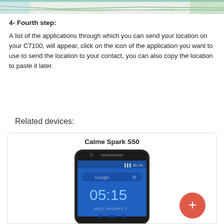[Figure (screenshot): Top portion of a map screenshot showing terrain/roads in light colors]
4- Fourth step:
A list of the applications through which you can send your location on your C7100, will appear, click on the icon of the application you want to use to send the location to your contact, you can also copy the location to paste it later.
Related devices:
[Figure (screenshot): Device card showing Calme Spark S50 smartphone with a red plus button]